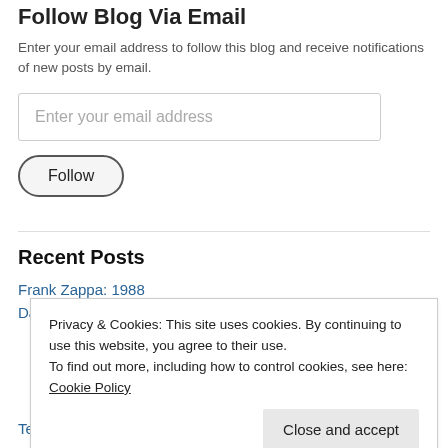Follow Blog Via Email
Enter your email address to follow this blog and receive notifications of new posts by email.
Enter your email address
Follow
Recent Posts
Frank Zappa: 1988
David Sanborn: Hideaway
Privacy & Cookies: This site uses cookies. By continuing to use this website, you agree to their use.
To find out more, including how to control cookies, see here: Cookie Policy
Close and accept
Tearjerkers